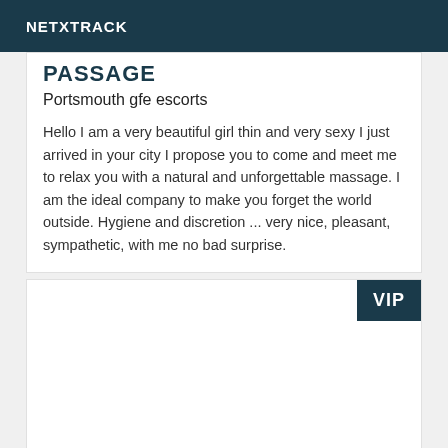NETXTRACK
PASSAGE
Portsmouth gfe escorts
Hello I am a very beautiful girl thin and very sexy I just arrived in your city I propose you to come and meet me to relax you with a natural and unforgettable massage. I am the ideal company to make you forget the world outside. Hygiene and discretion ... very nice, pleasant, sympathetic, with me no bad surprise.
VIP